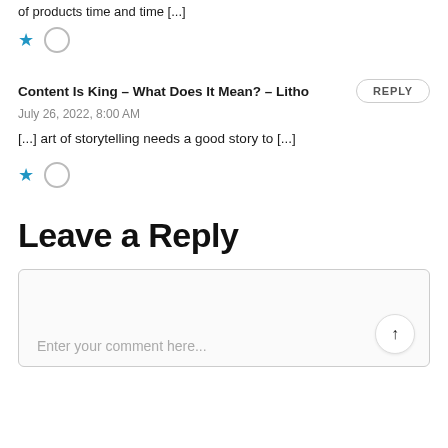of products time and time [...]
[Figure (other): Star icon and empty circle icon (like/vote buttons)]
Content Is King – What Does It Mean? – Litho
July 26, 2022, 8:00 AM
[...] art of storytelling needs a good story to [...]
[Figure (other): Star icon and empty circle icon (like/vote buttons)]
Leave a Reply
Enter your comment here...